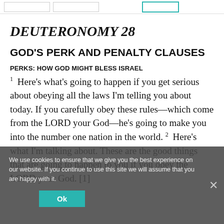Navigation bar with boxes
DEUTERONOMY 28
GOD'S PERK AND PENALTY CLAUSES
PERKS: HOW GOD MIGHT BLESS ISRAEL
1  Here’s what’s going to happen if you get serious about obeying all the laws I’m telling you about today. If you carefully obey these rules—which come from the LORD your God—he’s going to make you into the number one nation in the world. 2  Here’s what I’m talking about. These are the good things that are going to happen to you if you obey the LORD your God. [1]
We use cookies to ensure that we give you the best experience on our website. If you continue to use this site we will assume that you are happy with it.
Ok